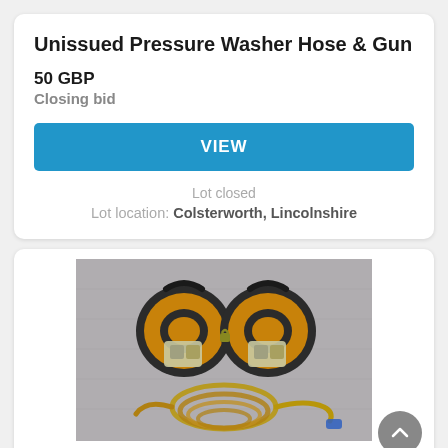Unissued Pressure Washer Hose & Gun
50 GBP
Closing bid
VIEW
Lot closed
Lot location: Colsterworth, Lincolnshire
[Figure (photo): Two yellow pressure washer hose reels with blue bases and connectors, with yellow/brown hoses coiled below them, photographed on a grey surface]
Lot 210